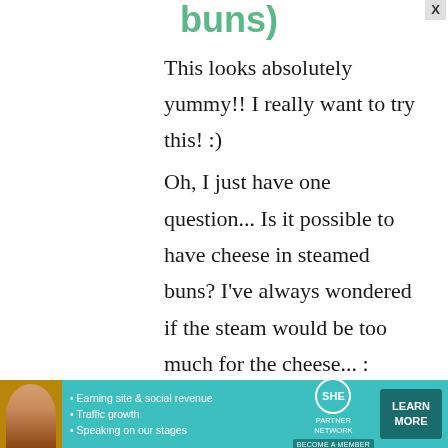buns)
This looks absolutely yummy!! I really want to try this! :)
Oh, I just have one question... Is it possible to have cheese in steamed buns? I've always wondered if the steam would be too much for the cheese... :
(
[Figure (infographic): SHE Partner Network advertisement banner with woman photo, bullet points about earning site & social revenue, traffic growth, speaking on stages, SHE logo, and LEARN MORE button]